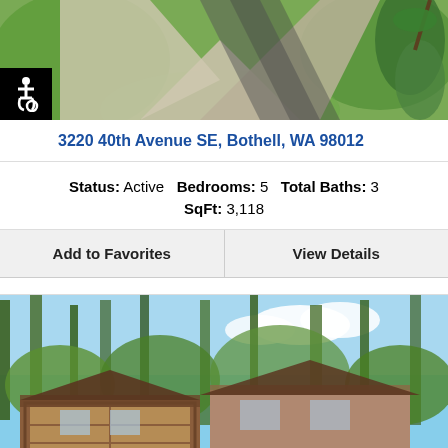[Figure (photo): Aerial view of a residential property driveway with geometric concrete patterns and surrounding greenery]
[Figure (illustration): Accessibility (wheelchair) icon badge in black square]
3220 40th Avenue SE, Bothell, WA 98012
Status: Active  Bedrooms: 5  Total Baths: 3  SqFt: 3,118
Add to Favorites   View Details
[Figure (photo): Exterior photo of a mid-century modern home surrounded by tall trees, with brown wood and brick exterior and garage]